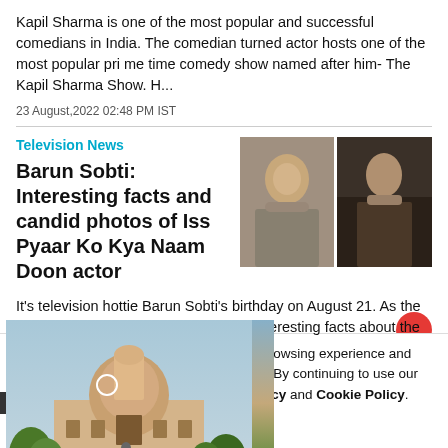Kapil Sharma is one of the most popular and successful comedians in India. The comedian turned actor hosts one of the most popular pri me time comedy show named after him- The Kapil Sharma Show. H...
23 August,2022 02:48 PM IST
Television News
Barun Sobti: Interesting facts and candid photos of Iss Pyaar Ko Kya Naam Doon actor
[Figure (photo): Two photos of actor Barun Sobti side by side]
It's television hottie Barun Sobti's birthday on August 21. As the actor turns 36, we bring to you a few interesting facts about the actor, alon
[Figure (photo): Photo of Supreme Court of India building with dome and surrounding trees]
...nilar technologies, to enhance your browsing experience and provide personalised recommendations. By continuing to use our website, you agree to our Privacy Policy and Cookie Policy.